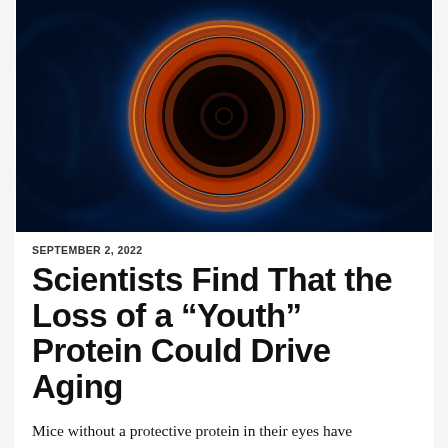[Figure (illustration): Scientific illustration showing a circular cell or protein structure with concentric orange and red rings surrounded by glowing blue neural or plasma-like tendrils on a dark blue background, resembling a stylized eye or nucleus cross-section.]
SEPTEMBER 2, 2022
Scientists Find That the Loss of a “Youth” Protein Could Drive Aging
Mice without a protective protein in their eyes have symptoms resembling age-related macular